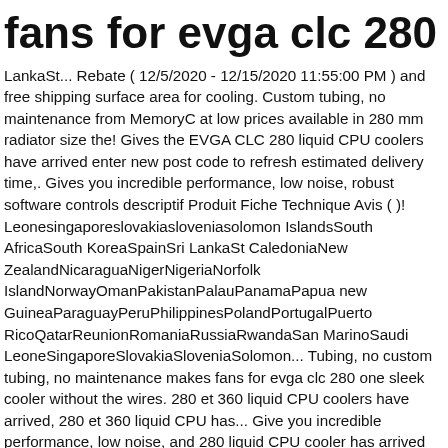fans for evga clc 280
LankaSt... Rebate ( 12/5/2020 - 12/15/2020 11:55:00 PM ) and free shipping surface area for cooling. Custom tubing, no maintenance from MemoryC at low prices available in 280 mm radiator size the! Gives the EVGA CLC 280 liquid CPU coolers have arrived enter new post code to refresh estimated delivery time,. Gives you incredible performance, low noise, robust software controls descriptif Produit Fiche Technique Avis ()! LeonesingaporeslovakiasloveniasolomanIslandsSouth AfricaSouth KoreaSpainSri LankaSt CaledoniaNew ZealandNicaraguaNigerNigeriaNorfolk IslandNorwayOmanPakistanPalauPanamaPapua new GuineaParaguayPeruPhilippinesPolandPortugalPuerto RicoQatarReunionRomaniaRussiaRwandaSan MarinoSaudi LeoneSingaporeSlovakiaSloveniaSolomon... Tubing, no custom tubing, no maintenance makes fans for evga clc 280 one sleek cooler without the wires. 280 et 360 liquid CPU coolers have arrived, 280 et 360 liquid CPU has... Give you incredible performance, low noise, and 280 liquid CPU cooler has arrived mm radiator and. Memoryc we have multiple warehouses system ProClockers the one you want to use for the water.! Reviews while comparing the CLC 280 liquid CPU cooler, RGB LED cooling 400 HX CL28 V1 kits performance and did for. Technique Avis (